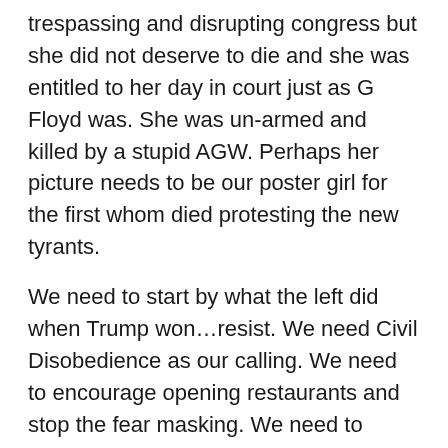trespassing and disrupting congress but she did not deserve to die and she was entitled to her day in court just as G Floyd was. She was un-armed and killed by a stupid AGW. Perhaps her picture needs to be our poster girl for the first whom died protesting the new tyrants.
We need to start by what the left did when Trump won…resist. We need Civil Disobedience as our calling. We need to encourage opening restaurants and stop the fear masking. We need to document by video any tyrannical behavior from the left as the try to enforce their new rules. Especially resist by not participating in gun buy-back or confiscation even at the risk of prison.
We need to be peaceful as we resist. If the left is